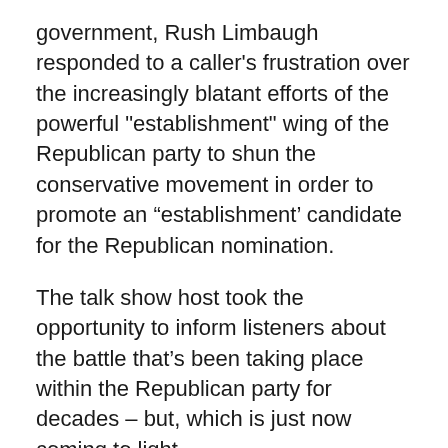government, Rush Limbaugh responded to a caller's frustration over the increasingly blatant efforts of the powerful "establishment" wing of the Republican party to shun the conservative movement in order to promote an “establishment’ candidate for the Republican nomination.
The talk show host took the opportunity to inform listeners about the battle that’s been taking place within the Republican party for decades – but, which is just now coming to light.
The caller’s frustration stemmed from what